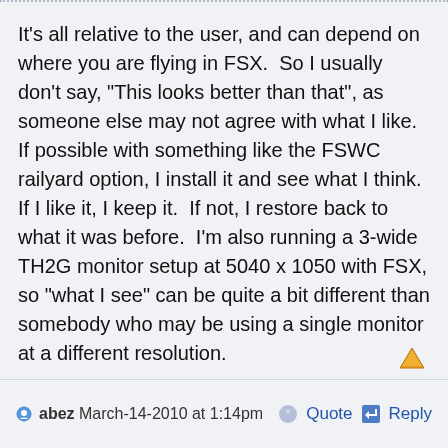It's all relative to the user, and can depend on where you are flying in FSX.  So I usually don't say, "This looks better than that", as someone else may not agree with what I like.  If possible with something like the FSWC railyard option, I install it and see what I think.  If I like it, I keep it.  If not, I restore back to what it was before.  I'm also running a 3-wide TH2G monitor setup at 5040 x 1050 with FSX, so "what I see" can be quite a bit different than somebody who may be using a single monitor at a different resolution.
abez March-14-2010 at 1:14pm    Quote   Reply